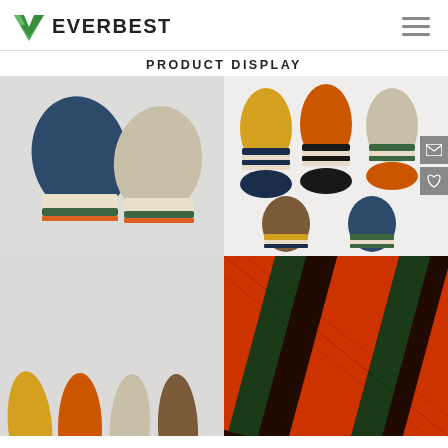[Figure (logo): Everbest logo with green V checkmark and bold EVERBEST text]
PRODUCT DISPLAY
[Figure (photo): Two ankle socks displayed flat — navy blue sock with green and beige stripe at bottom, beige sock with dark green and orange stripe at bottom, on light grey background]
[Figure (photo): Six ankle socks — top row: yellow, orange, beige with navy/black horizontal stripes; bottom row: brown and navy with yellow/green stripes, on white background]
[Figure (photo): Row of colorful striped ankle socks — yellow, orange, beige, brown visible at bottom of frame]
[Figure (photo): Close-up of knitted fabric texture showing red/orange and dark green diagonal stripes]